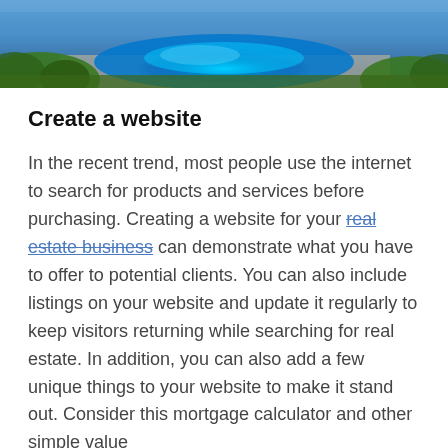[Figure (photo): Aerial or close-up view of a swimming pool with blue water glowing, surrounded by green plants and grass.]
Create a website
In the recent trend, most people use the internet to search for products and services before purchasing. Creating a website for your real estate business can demonstrate what you have to offer to potential clients. You can also include listings on your website and update it regularly to keep visitors returning while searching for real estate. In addition, you can also add a few unique things to your website to make it stand out. Consider this mortgage calculator and other simple value